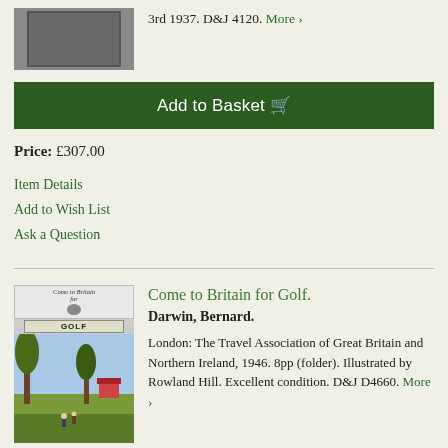[Figure (photo): Grey book cover image, partial view at top of page]
3rd 1937. D&J 4120. More >
Add to Basket 🛒
Price: £307.00
Item Details
Add to Wish List
Ask a Question
[Figure (photo): Book cover of 'Come to Britain for Golf' showing illustrated golf scene with trees]
Come to Britain for Golf.
Darwin, Bernard.
London: The Travel Association of Great Britain and Northern Ireland, 1946. 8pp (folder). Illustrated by Rowland Hill. Excellent condition. D&J D4660. More >